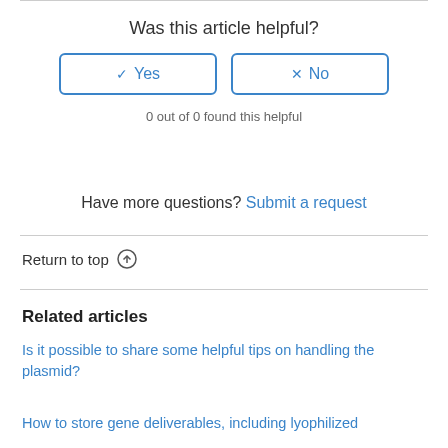Was this article helpful?
[Figure (other): Yes and No feedback buttons with checkmark and X icons, outlined in blue]
0 out of 0 found this helpful
Have more questions? Submit a request
Return to top ↑
Related articles
Is it possible to share some helpful tips on handling the plasmid?
How to store gene deliverables, including lyophilized plasmid...